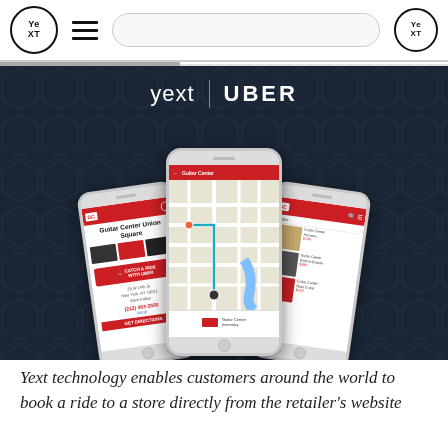Yext navigation bar with logo, hamburger menu, search bar, and Yext circle logo
[Figure (screenshot): Screenshot of a webpage showing the Yext and Uber partnership. A dark navy blue hero banner displays 'yext | UBER' branding with three smartphone screens showing: (left) Guitar Center Union Square store page with a 'Catch a Ride with Uber' button, (center) an Uber map showing route to Guitar Center, (right) Guitar Center store inventory page.]
Yext technology enables customers around the world to book a ride to a store directly from the retailer's website